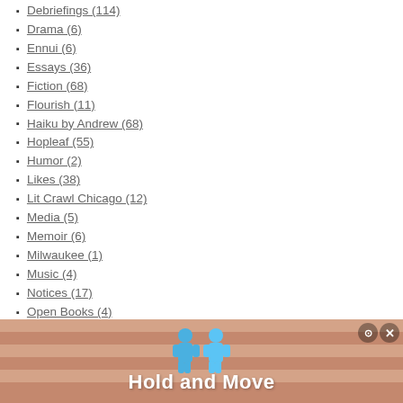Debriefings (114)
Drama (6)
Ennui (6)
Essays (36)
Fiction (68)
Flourish (11)
Haiku by Andrew (68)
Hopleaf (55)
Humor (2)
Likes (38)
Lit Crawl Chicago (12)
Media (5)
Memoir (6)
Milwaukee (1)
Music (4)
Notices (17)
Open Books (4)
Other Series (19)
Participants (589)
Personnel (19)
Poems by Bill (15)
Poetry (78)
Reading # 01 (1)
Reading # 02 (1)
[Figure (screenshot): Advertisement banner showing two blue figures and the text 'Hold and Move' with a peach/tan striped background. Has close/help buttons in top right corner.]